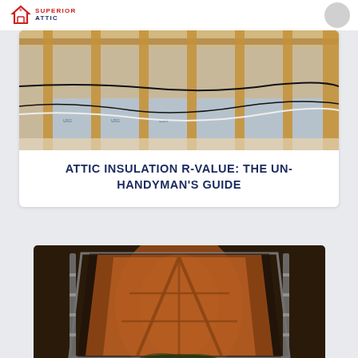SUPERIOR ATTIC
[Figure (photo): Attic interior showing wooden rafters/joists with insulation batts and electrical wiring visible, photographed from above]
ATTIC INSULATION R-VALUE: THE UN-HANDYMAN'S GUIDE
[Figure (photo): View looking up through an open attic access hatch showing wooden framing and structural elements with warm orange lighting]